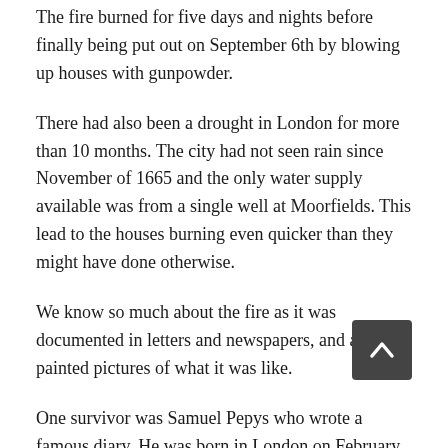The fire burned for five days and nights before finally being put out on September 6th by blowing up houses with gunpowder.
There had also been a drought in London for more than 10 months. The city had not seen rain since November of 1665 and the only water supply available was from a single well at Moorfields. This lead to the houses burning even quicker than they might have done otherwise.
We know so much about the fire as it was documented in letters and newspapers, and artists painted pictures of what it was like.
One survivor was Samuel Pepys who wrote a famous diary. He was born in London on February 23, 1633.
Pepy's diary records his key social and political observations including those about the Great Fire of London in 1666
A monument was built to remember the Great Fire. This was